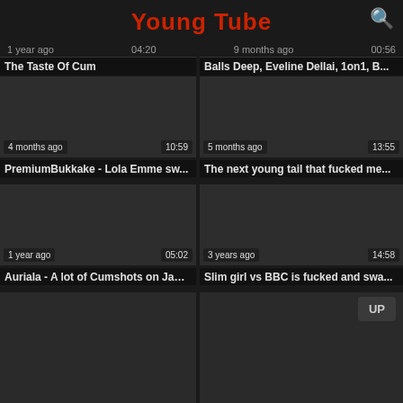Young Tube
1 year ago  04:20  9 months ago  00:56
The Taste Of Cum
Balls Deep, Eveline Dellai, 1on1, B...
[Figure (screenshot): Dark video thumbnail, 4 months ago, 10:59]
[Figure (screenshot): Dark video thumbnail, 5 months ago, 13:55]
PremiumBukkake - Lola Emme sw...
The next young tail that fucked me...
[Figure (screenshot): Dark video thumbnail, 1 year ago, 05:02]
[Figure (screenshot): Dark video thumbnail, 3 years ago, 14:58]
Auriala - A lot of Cumshots on Jam...
Slim girl vs BBC is fucked and swa...
[Figure (screenshot): Partial dark video thumbnail (bottom row left)]
[Figure (screenshot): Partial dark video thumbnail (bottom row right)]